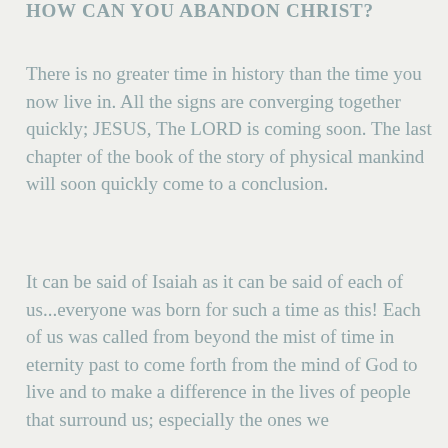HOW CAN YOU ABANDON CHRIST?
There is no greater time in history than the time you now live in. All the signs are converging together quickly; JESUS, The LORD is coming soon. The last chapter of the book of the story of physical mankind will soon quickly come to a conclusion.
It can be said of Isaiah as it can be said of each of us...everyone was born for such a time as this! Each of us was called from beyond the mist of time in eternity past to come forth from the mind of God to live and to make a difference in the lives of people that surround us; especially the ones we